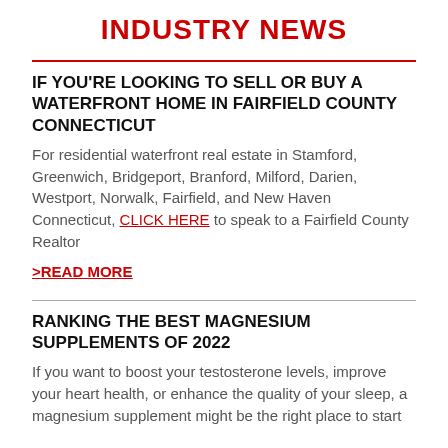INDUSTRY NEWS
IF YOU'RE LOOKING TO SELL OR BUY A WATERFRONT HOME IN FAIRFIELD COUNTY CONNECTICUT
For residential waterfront real estate in Stamford, Greenwich, Bridgeport, Branford, Milford, Darien, Westport, Norwalk, Fairfield, and New Haven Connecticut, CLICK HERE to speak to a Fairfield County Realtor
>READ MORE
RANKING THE BEST MAGNESIUM SUPPLEMENTS OF 2022
If you want to boost your testosterone levels, improve your heart health, or enhance the quality of your sleep, a magnesium supplement might be the right place to start